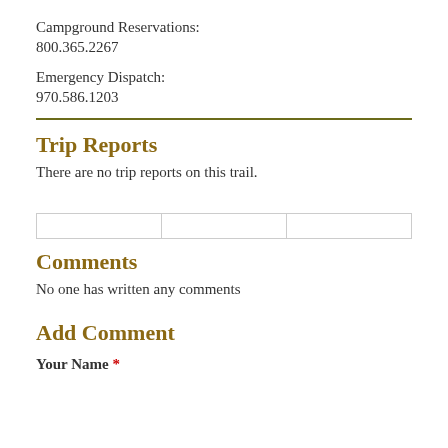Campground Reservations:
800.365.2267
Emergency Dispatch:
970.586.1203
Trip Reports
There are no trip reports on this trail.
|   |   |   |
Comments
No one has written any comments
Add Comment
Your Name *